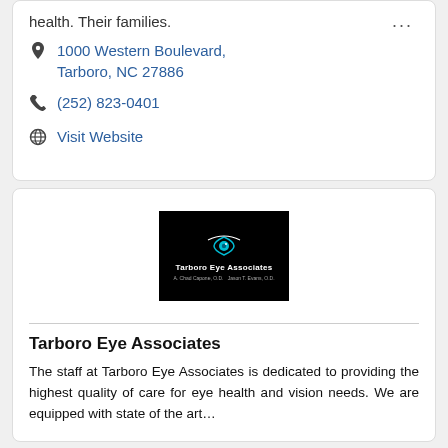health. Their families.
1000 Western Boulevard, Tarboro, NC 27886
(252) 823-0401
Visit Website
[Figure (logo): Tarboro Eye Associates logo: black background with teal/cyan eye graphic and white text reading 'Tarboro Eye Associates' with doctor names below]
Tarboro Eye Associates
The staff at Tarboro Eye Associates is dedicated to providing the highest quality of care for eye health and vision needs. We are equipped with state of the art…